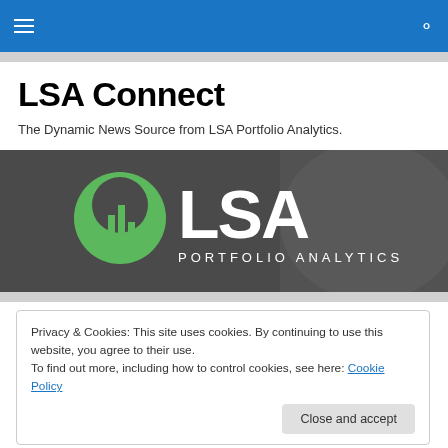LSA Connect — navigation bar with hamburger menu and search icon
LSA Connect
The Dynamic News Source from LSA Portfolio Analytics.
[Figure (logo): LSA Portfolio Analytics banner logo — green circle icon with bar chart symbol on the left, large white 'LSA' text in center, 'PORTFOLIO ANALYTICS' subtitle below, on a dark gray photographic background]
Privacy & Cookies: This site uses cookies. By continuing to use this website, you agree to their use.
To find out more, including how to control cookies, see here: Cookie Policy
Close and accept